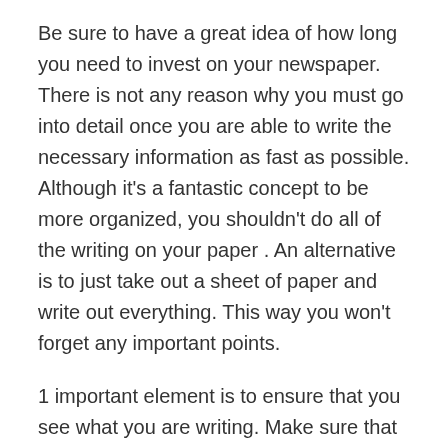Be sure to have a great idea of how long you need to invest on your newspaper. There is not any reason why you must go into detail once you are able to write the necessary information as fast as possible. Although it's a fantastic concept to be more organized, you shouldn't do all of the writing on your paper . An alternative is to just take out a sheet of paper and write out everything. This way you won't forget any important points.
1 important element is to ensure that you see what you are writing. Make sure that you have a crystal clear comprehension of the subject so that you understand what to say . Do not forget that your goal for writing your paper will be to convey information to other people. You need to convey a fantastic idea so the reader can obtain information from the writing.
Attempt to write your words in as many distinct ways as